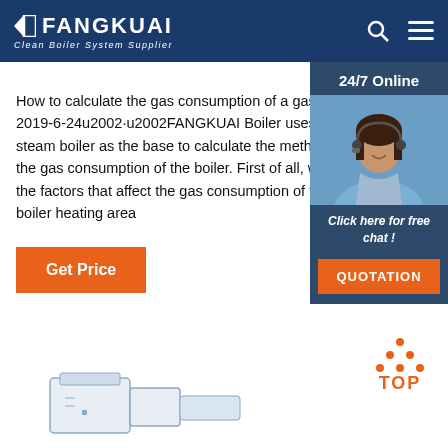FANGKUAI Clean Boiler System Supplier
How to calculate the gas consumption of a gas s... 2019-6-24u2002·u2002FANGKUAI Boiler uses a 1 steam boiler as the base to calculate the metho... the gas consumption of the boiler. First of all, w the factors that affect the gas consumption of th boiler heating area
Get Price
[Figure (photo): 24/7 Online chat widget with customer service representative wearing headset, blue shirt, smiling. Includes 'Click here for free chat!' text and QUOTATION button in orange.]
[Figure (illustration): TOP button with orange dots arranged in triangle above the text. Orange colored TOP text.]
[Figure (photo): Partial view of a white industrial boiler unit at the bottom of the page.]